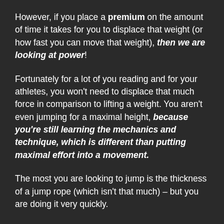However, if you place a premium on the amount of time it takes for you to displace that weight (or how fast you can move that weight), then we are looking at power!
Fortunately for a lot of you reading and for your athletes, you won't need to displace that much force in comparison to lifting a weight. You aren't even jumping for a maximal height, because you're still learning the mechanics and technique, which is different than putting maximal effort into a movement.
The most you are looking to jump is the thickness of a jump rope (which isn't that much) – but you are doing it very quickly.
How Can I Use This Combination?
I use several cues for many of my athletes. Most of my